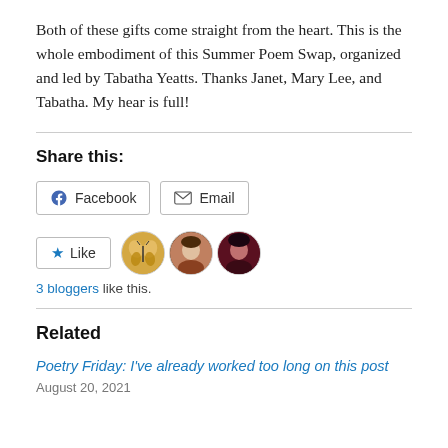Both of these gifts come straight from the heart. This is the whole embodiment of this Summer Poem Swap, organized and led by Tabatha Yeatts. Thanks Janet, Mary Lee, and Tabatha. My hear is full!
Share this:
[Figure (other): Share buttons for Facebook and Email]
[Figure (other): Like button with 3 blogger avatars]
3 bloggers like this.
Related
Poetry Friday: I've already worked too long on this post
August 20, 2021